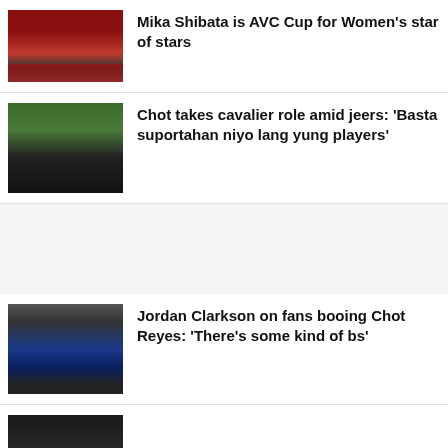[Figure (photo): Volleyball award ceremony photo with athletes in dark uniforms on a podium with red background]
Mika Shibata is AVC Cup for Women’s star of stars
[Figure (photo): Basketball coach in black suit standing with arms crossed in an arena]
Chot takes cavalier role amid jeers: ‘Basta suportahan niyo lang yung players’
[Figure (photo): Basketball players on court with coach, player wearing number 6 jersey in blue and red uniform]
Jordan Clarkson on fans booing Chot Reyes: ‘There’s some kind of bs’
[Figure (photo): Partially visible photo at bottom of page, dark background]